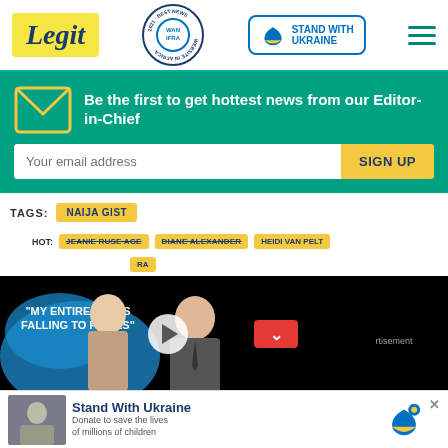[Figure (logo): Legit news site logo with yellow background, WAN-IFRA 2021 Best News Website in Africa badge, Stand with Ukraine button, and hamburger menu]
[Figure (infographic): Newsletter signup banner: Be the first to get hottest news from our Editor-in-Chief, with email input and SIGN UP button]
TAGS: NAIJA GIST
[Figure (screenshot): Video player overlay showing person with text MY ENTIRE LIFE IS FALLING TO PIECES, play button, HOT tags: JEANIE RUSE AGE, DIANE ALEXANDER, HEIDI VAN PELT, and a smaller tag]
[Figure (infographic): Stand with Ukraine banner at bottom: Donate to save the lives of millions of children, with heart icon and close button]